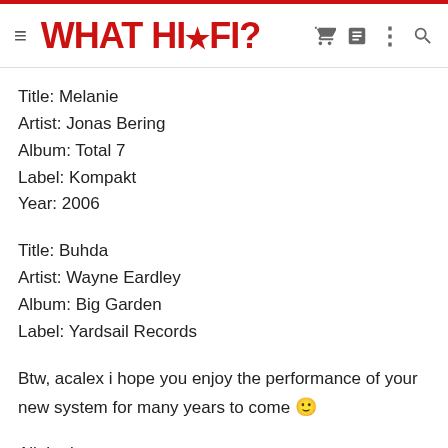WHAT HI·FI?
Title: Melanie
Artist: Jonas Bering
Album: Total 7
Label: Kompakt
Year: 2006
Title: Buhda
Artist: Wayne Eardley
Album: Big Garden
Label: Yardsail Records
Btw, acalex i hope you enjoy the performance of your new system for many years to come 🙂
All the best
Rick @ Musicraft